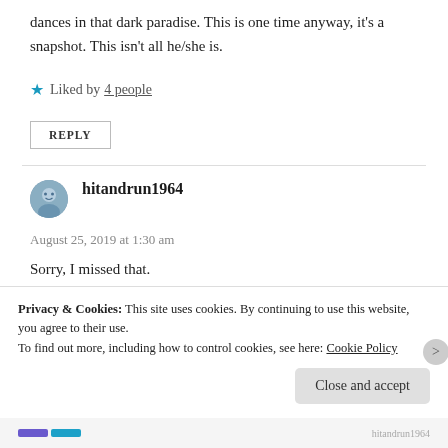dances in that dark paradise. This is one time anyway, it's a snapshot. This isn't all he/she is.
★ Liked by 4 people
REPLY
hitandrun1964
August 25, 2019 at 1:30 am
Sorry, I missed that.
★ Liked by 1 person
Privacy & Cookies: This site uses cookies. By continuing to use this website, you agree to their use.
To find out more, including how to control cookies, see here: Cookie Policy
Close and accept